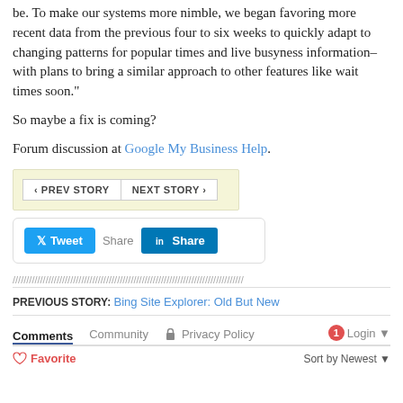be. To make our systems more nimble, we began favoring more recent data from the previous four to six weeks to quickly adapt to changing patterns for popular times and live busyness information–with plans to bring a similar approach to other features like wait times soon."
So maybe a fix is coming?
Forum discussion at Google My Business Help.
[Figure (other): Navigation buttons: PREV STORY and NEXT STORY]
[Figure (other): Social share buttons: Tweet, Share (Facebook), Share (LinkedIn)]
PREVIOUS STORY: Bing Site Explorer: Old But New
Comments | Community | Privacy Policy | Login
Favorite | Sort by Newest